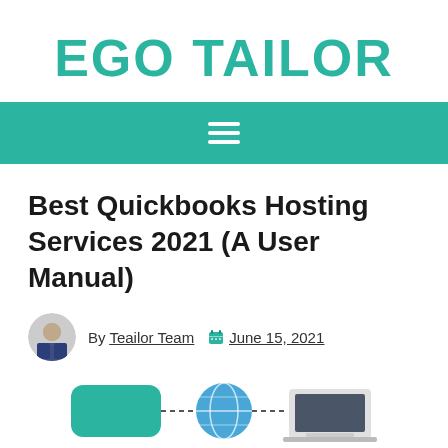EGO TAILOR
[Figure (other): Navigation bar with hamburger menu icon on teal/green background]
Best Quickbooks Hosting Services 2021 (A User Manual)
By Teailor Team  June 15, 2021
[Figure (illustration): Partial illustration showing hosting/cloud service icons including a teal rounded rectangle, globe, and laptop screen]